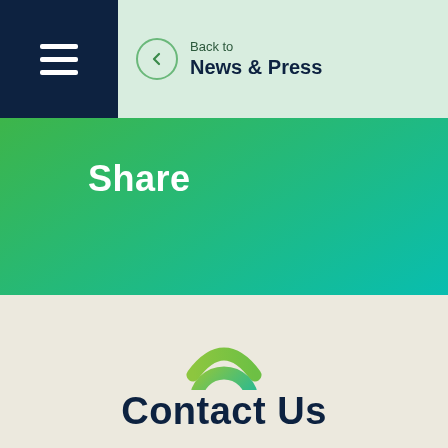Back to News & Press
Share
[Figure (logo): Stylized phone/contact icon with green-to-teal gradient ring and arc above]
Contact Us